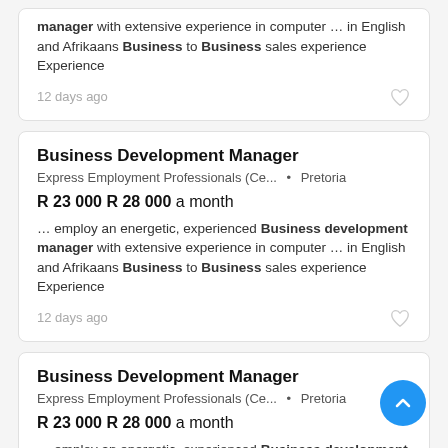manager with extensive experience in computer … in English and Afrikaans Business to Business sales experience Experience
12 days ago
Business Development Manager
Express Employment Professionals (Ce... • Pretoria
R 23 000 R 28 000 a month
… employ an energetic, experienced Business development manager with extensive experience in computer … in English and Afrikaans Business to Business sales experience Experience
12 days ago
Business Development Manager
Express Employment Professionals (Ce... • Pretoria
R 23 000 R 28 000 a month
… employ an energetic, experienced Business development manager with extensive experience in computer … in English and Afrikaans Business to Business sales experience Experience